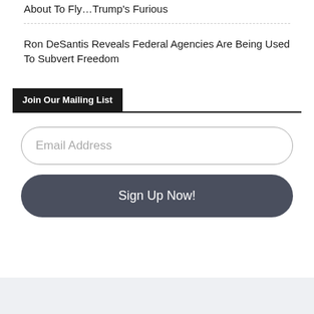About To Fly…Trump's Furious
Ron DeSantis Reveals Federal Agencies Are Being Used To Subvert Freedom
Join Our Mailing List
Email Address
Sign Up Now!